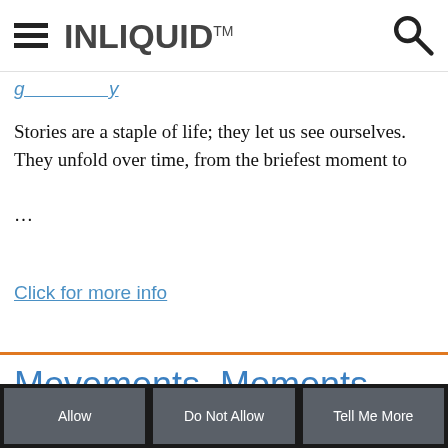INLIQUID™
Stories are a staple of life; they let us see ourselves. They unfold over time, from the briefest moment to …
Click for more info
Movements, Moments
InLiquid uses cookies to track and report on our site's performance. Would you like to Allow?
Allow    Do Not Allow    Tell Me More